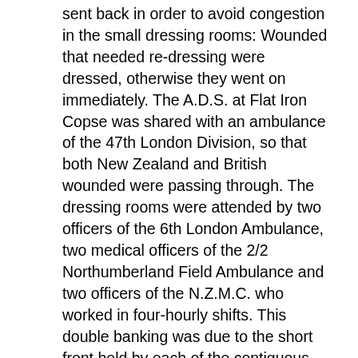sent back in order to avoid congestion in the small dressing rooms: Wounded that needed re-dressing were dressed, otherwise they went on immediately. The A.D.S. at Flat Iron Copse was shared with an ambulance of the 47th London Division, so that both New Zealand and British wounded were passing through. The dressing rooms were attended by two officers of the 6th London Ambulance, two medical officers of the 2/2 Northumberland Field Ambulance and two officers of the N.Z.M.C. who worked in four-hourly shifts. This double banking was due to the short front held by each of the contiguous divisions, but the arrangement worked well, the various ambulances pooled their medical stores and transport so that there never was any deficiency in personnel